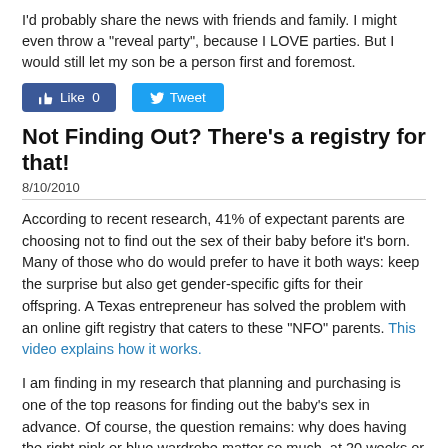I'd probably share the news with friends and family. I might even throw a "reveal party", because I LOVE parties. But I would still let my son be a person first and foremost.
[Figure (other): Social media buttons: Facebook Like (0) and Twitter Tweet]
Not Finding Out? There's a registry for that!
8/10/2010
According to recent research, 41% of expectant parents are choosing not to find out the sex of their baby before it's born. Many of those who do would prefer to have it both ways: keep the surprise but also get gender-specific gifts for their offspring. A Texas entrepreneur has solved the problem with an online gift registry that caters to these "NFO" parents. This video explains how it works.
I am finding in my research that planning and purchasing is one of the top reasons for finding out the baby's sex in advance. Of course, the question remains: why does having the right pink or blue wardrobe matter so much, at 20 weeks or 40?